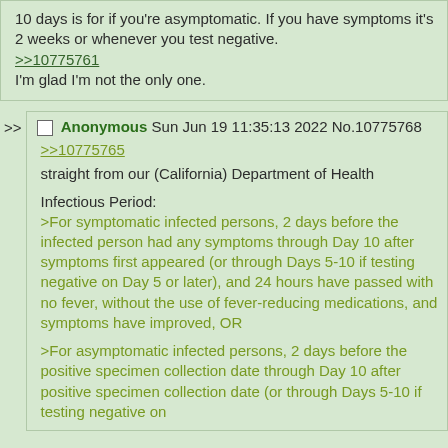10 days is for if you're asymptomatic. If you have symptoms it's 2 weeks or whenever you test negative.
>>10775761
I'm glad I'm not the only one.
Anonymous Sun Jun 19 11:35:13 2022 No.10775768
>>10775765
straight from our (California) Department of Health

Infectious Period:
>For symptomatic infected persons, 2 days before the infected person had any symptoms through Day 10 after symptoms first appeared (or through Days 5-10 if testing negative on Day 5 or later), and 24 hours have passed with no fever, without the use of fever-reducing medications, and symptoms have improved, OR

>For asymptomatic infected persons, 2 days before the positive specimen collection date through Day 10 after positive specimen collection date (or through Days 5-10 if testing negative on